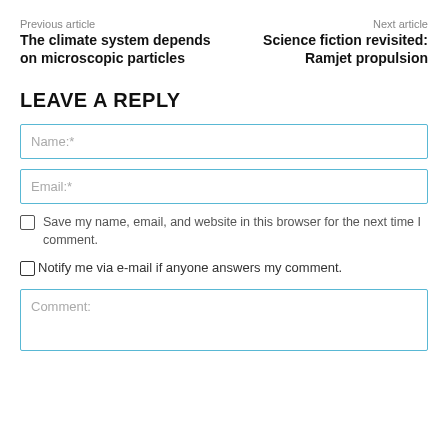Previous article
Next article
The climate system depends on microscopic particles
Science fiction revisited: Ramjet propulsion
LEAVE A REPLY
Name:*
Email:*
Save my name, email, and website in this browser for the next time I comment.
Notify me via e-mail if anyone answers my comment.
Comment: